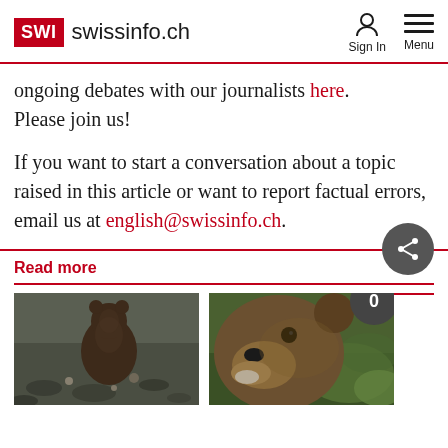SWI swissinfo.ch | Sign In | Menu
ongoing debates with our journalists here. Please join us!
If you want to start a conversation about a topic raised in this article or want to report factual errors, email us at english@swissinfo.ch.
Read more
[Figure (photo): Small bear cub seen from behind on rocky ground]
[Figure (photo): Close-up of a brown bear's face with greenery in background]